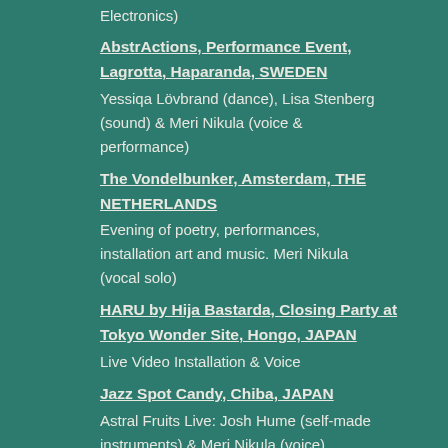Electronics)
AbstrActions, Performance Event, Lagrotta, Haparanda, SWEDEN
Yessiqa Lövbrand (dance), Lisa Stenberg (sound) & Meri Nikula (voice & performance)
The Vondelbunker, Amsterdam, THE NETHERLANDS
Evening of poetry, performances, installation art and music. Meri Nikula (vocal solo)
HARU by Hija Bastarda, Closing Party at Tokyo Wonder Site, Hongo, JAPAN
Live Video Installation & Voice
Jazz Spot Candy, Chiba, JAPAN
Astral Fruits Live: Josh Hume (self-made instruments) & Meri Nikula (voice)